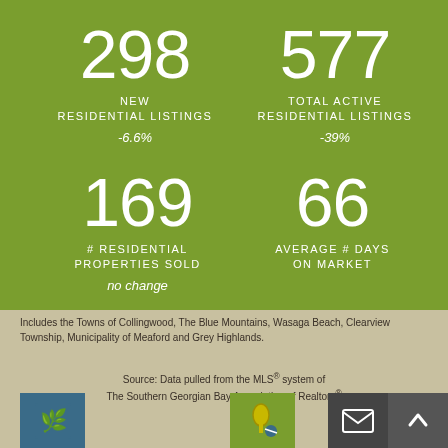[Figure (infographic): Real estate market stats infographic on green background showing 4 key metrics: 298 new residential listings (-6.6%), 577 total active residential listings (-39%), 169 residential properties sold (no change), 66 average days on market.]
298
NEW RESIDENTIAL LISTINGS
-6.6%
577
TOTAL ACTIVE RESIDENTIAL LISTINGS
-39%
169
# RESIDENTIAL PROPERTIES SOLD
no change
66
AVERAGE # DAYS ON MARKET
Includes the Towns of Collingwood, The Blue Mountains, Wasaga Beach, Clearview Township, Municipality of Meaford and Grey Highlands.
Source: Data pulled from the MLS® system of The Southern Georgian Bay Association of Realtors®